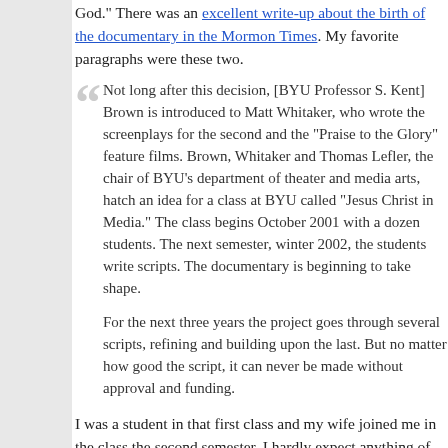God." There was an excellent write-up about the birth of the documentary in the Mormon Times. My favorite paragraphs were these two.
Not long after this decision, [BYU Professor S. Kent] Brown is introduced to Matt Whitaker, who wrote the screenplays for the second and third "Praise to the Glory" feature films. Brown, Whitaker and Thomas Lefler, the department chair of BYU's department of theater and media arts, hatch an idea for a class at BYU called "Jesus Christ in Media." The class begins October 2001 with a dozen students. The next semester, winter 2002, the students write scripts. The documentary is beginning to take shape.
For the next three years the project goes through several scripts, each refining and building upon the last. But no matter how good the script, it can never be made without approval and funding.
I was a student in that first class and my wife joined me in the class the second semester. I hardly expect anything of those early scripts to have survived. When Brother Brown nixed my inclusion of material about the sacrifice of the red heifer, it become a running joke with Brother Whitaker that we could use a red heifer for the icon in the bottom right corner of the screen that directs people to the companion website.
Whatever comes out on Sunday, I'm sure it will be fact-filled and faith enriching. The books that these scholars have been producing leave no doubt about their grasp of the issues. I can tell you, based on